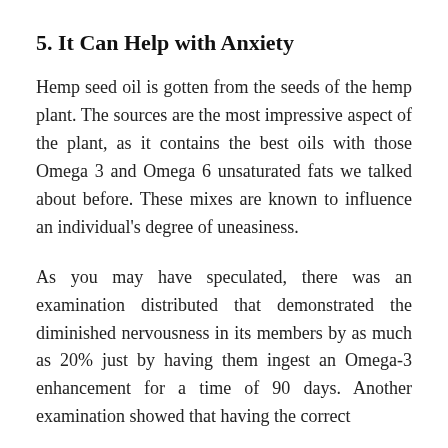5. It Can Help with Anxiety
Hemp seed oil is gotten from the seeds of the hemp plant. The sources are the most impressive aspect of the plant, as it contains the best oils with those Omega 3 and Omega 6 unsaturated fats we talked about before. These mixes are known to influence an individual's degree of uneasiness.
As you may have speculated, there was an examination distributed that demonstrated the diminished nervousness in its members by as much as 20% just by having them ingest an Omega-3 enhancement for a time of 90 days. Another examination showed that having the correct